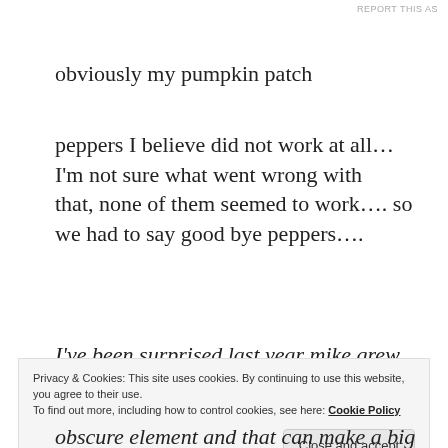REPORT THIS AS
obviously my pumpkin patch
peppers I believe did not work at all… I'm not sure what went wrong with that, none of them seemed to work…. so we had to say good bye peppers….
I've been surprised last year mike grew peppers in two different dirts and I was
Privacy & Cookies: This site uses cookies. By continuing to use this website, you agree to their use.
To find out more, including how to control cookies, see here: Cookie Policy
Close and accept
obscure element and that can make a big